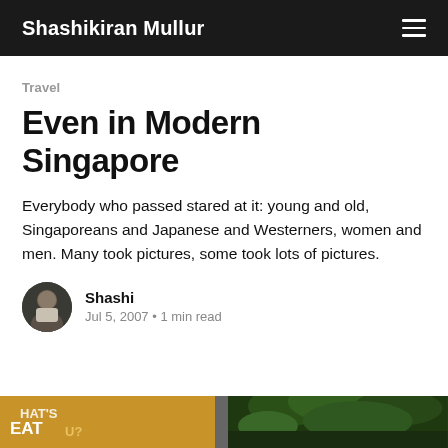Shashikiran Mullur
Travel
Even in Modern Singapore
Everybody who passed stared at it: young and old, Singaporeans and Japanese and Westerners, women and men. Many took pictures, some took lots of pictures.
Shashi
Jul 5, 2007 • 1 min read
[Figure (photo): Bottom strip showing two partial photos side by side - left appears to be a colorful advertisement or sign, right shows tropical foliage]